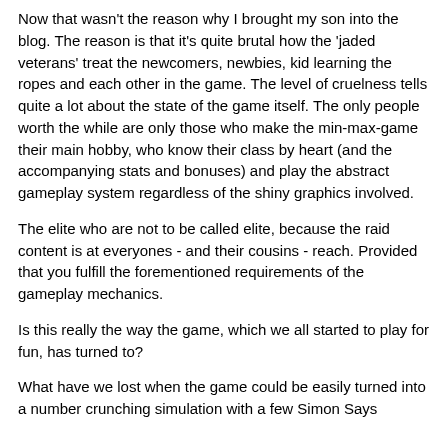Now that wasn't the reason why I brought my son into the blog. The reason is that it's quite brutal how the 'jaded veterans' treat the newcomers, newbies, kid learning the ropes and each other in the game. The level of cruelness tells quite a lot about the state of the game itself. The only people worth the while are only those who make the min-max-game their main hobby, who know their class by heart (and the accompanying stats and bonuses) and play the abstract gameplay system regardless of the shiny graphics involved.
The elite who are not to be called elite, because the raid content is at everyones - and their cousins - reach. Provided that you fulfill the forementioned requirements of the gameplay mechanics.
Is this really the way the game, which we all started to play for fun, has turned to?
What have we lost when the game could be easily turned into a number crunching simulation with a few Simon Says